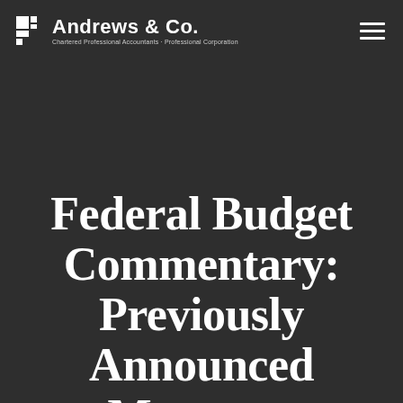Andrews & Co. Chartered Professional Accountants - Professional Corporation
Federal Budget Commentary: Previously Announced Measures